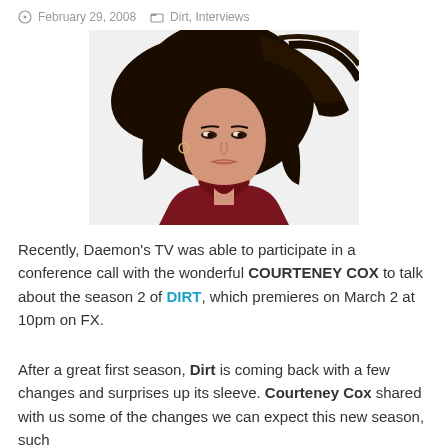February 29, 2008   Dirt, Interviews
[Figure (photo): Promotional photo of Courteney Cox with long dark flowing hair, wearing a dark red velvet jacket, against a white background.]
Recently, Daemon's TV was able to participate in a conference call with the wonderful COURTENEY COX to talk about the season 2 of DIRT, which premieres on March 2 at 10pm on FX.
After a great first season, Dirt is coming back with a few changes and surprises up its sleeve. Courteney Cox shared with us some of the changes we can expect this new season, such